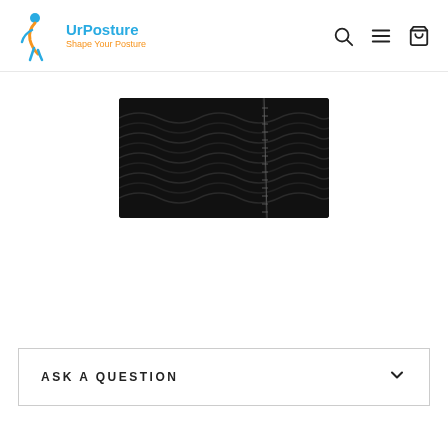[Figure (logo): UrPosture logo with blue figure icon, blue brand name 'UrPosture' and orange tagline 'Shape Your Posture']
[Figure (photo): Close-up of a black compression/posture garment with zipper detail, shown against a white background]
ASK A QUESTION